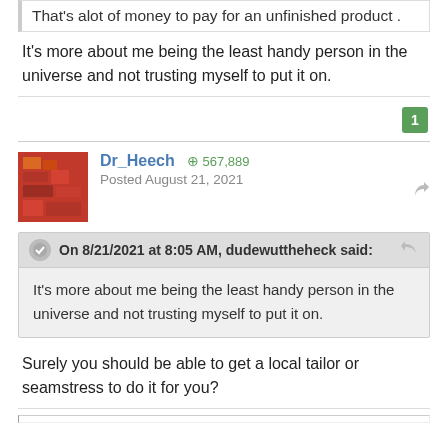That's alot of money to pay for an unfinished product .
It's more about me being the least handy person in the universe and not trusting myself to put it on.
Dr_Heech  567,889
Posted August 21, 2021
On 8/21/2021 at 8:05 AM, dudewuttheheck said:
It's more about me being the least handy person in the universe and not trusting myself to put it on.
Surely you should be able to get a local tailor or seamstress to do it for you?